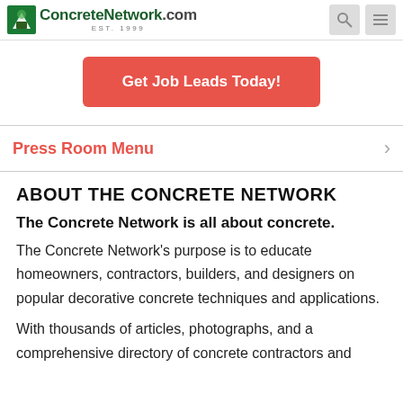[Figure (logo): ConcreteNetwork.com logo with green icon, bold text, and EST. 1999 subtitle]
Get Job Leads Today!
Press Room Menu
ABOUT THE CONCRETE NETWORK
The Concrete Network is all about concrete.
The Concrete Network's purpose is to educate homeowners, contractors, builders, and designers on popular decorative concrete techniques and applications.
With thousands of articles, photographs, and a comprehensive directory of concrete contractors and